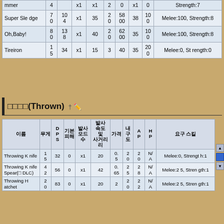| 이름 | 무게 | 기본 피해 | 발사 모드 | 사거리 | 발사 속도 | 가격 | 내구도 | AP | HP | 요구 스킬 |
| --- | --- | --- | --- | --- | --- | --- | --- | --- | --- | --- |
| mmer | 4 | x1 | x1 | x1 | 2 | 0 | x1 | 0 | Strength:7 |
| Super Sledge | 70 | 104 | x1 | 35 | 20 | 5800 | 38 | 100 | Melee:100, Strength:8 |
| Oh,Baby! | 80 | 138 | x1 | 40 | 20 | 6200 | 35 | 100 | Melee:100, Strength:8 |
| Tireiron | 15 | 34 | x1 | 15 | 3 | 40 | 35 | 20 | Melee:0, Strength:0 |
투척(Thrown)
| 이름 | 무게 | DPS | 기본 피해 | 발사 모드 수 | 발사 속도 및 사거리 | 가격 | 내구도 | AP | HP | 요구 스킬 |
| --- | --- | --- | --- | --- | --- | --- | --- | --- | --- | --- |
| Throwing Knife | 15 | 32 | 0 | x1 | 20 | 0.5 | 20 | 20 | N/A | Melee:0, Strength:1 |
| Throwing Knife Spear(DLC) | 42 | 56 | 0 | x1 | 42 | 0.65 | 25 | 28 | N/A | Melee:25, Strength:1 |
| Throwing Hatchet | 20 | 83 | 0 | x1 | 20 | 2 | 20 | 22 | N/A | Melee:25, Strength:1 |